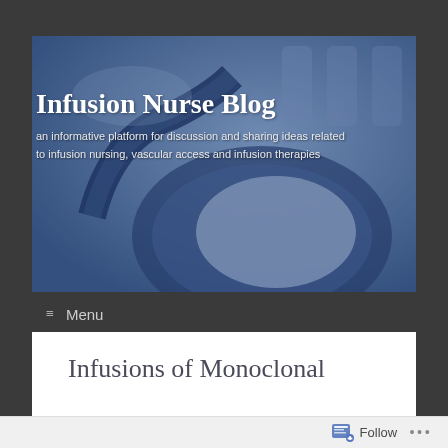[Figure (photo): Blue-toned close-up photo of stethoscope/medical equipment used as website banner background for Infusion Nurse Blog]
Infusion Nurse Blog
an informative platform for discussion and sharing ideas related to infusion nursing, vascular access and infusion therapies
≡ Menu
Infusions of Monoclonal
Follow